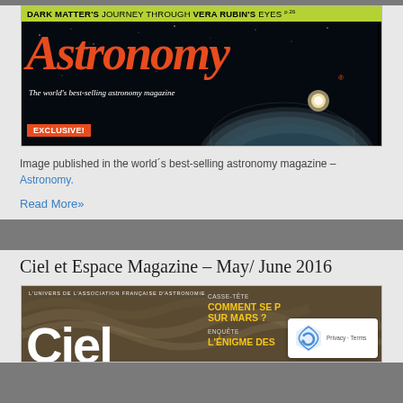[Figure (photo): Cover of Astronomy magazine June 2016 issue. Green banner at top reads 'DARK MATTER'S JOURNEY THROUGH VERA RUBIN'S EYES'. Large orange italic 'Astronomy' title. Tagline: 'The world's best-selling astronomy magazine'. Orange 'EXCLUSIVE!' badge. Planet arc image in the dark background.]
Image published in the world´s best-selling astronomy magazine – Astronomy.
Read More»
Ciel et Espace Magazine – May/ June 2016
[Figure (photo): Cover of Ciel et Espace magazine May/June 2016. French astronomy magazine. Subtitle 'L'UNIVERS DE L'ASSOCIATION FRANÇAISE D'ASTRONOMIE'. Large white 'Ciel' title. Right panel with yellow text: 'CASSE-TÊTE COMMENT SE P... SUR MARS ?' and 'ENQUÊTE L'ÉNIGME DES']
[Figure (logo): reCAPTCHA privacy badge with Privacy and Terms links]